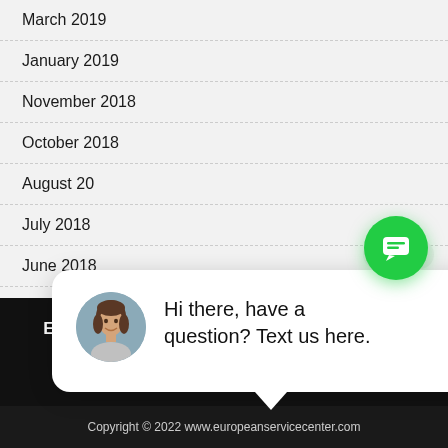March 2019
January 2019
November 2018
October 2018
August 20
July 2018
June 2018
[Figure (screenshot): Chat popup with avatar photo of a woman and text: Hi there, have a question? Text us here. A close button in top right and a green chat bubble button below.]
EXPERIENCE THE DIFFERENCE. CALL TO SCHEDULE YOUR SEASONAL TUNEUP!
Copyright © 2022 www.europeanservicecenter.com